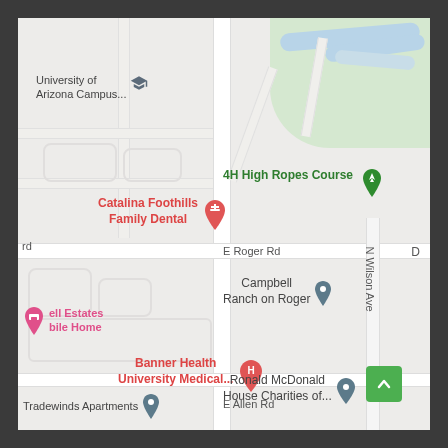[Figure (map): Google Maps screenshot showing an area in Tucson, Arizona near E Roger Rd and E Allen Rd. Shows landmarks including University of Arizona Campus, Catalina Foothills Family Dental, 4H High Ropes Course, Campbell Ranch on Roger, Bell Estates Mobile Home, Banner Health University Medical Center, Ronald McDonald House Charities, Tradewinds Apartments, and N Wilson Ave street label.]